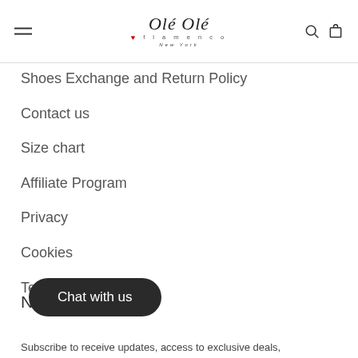Olé Olé flamenco New York
Shoes Exchange and Return Policy
Contact us
Size chart
Affiliate Program
Privacy
Cookies
Terms & conditions
Chat with us
Subscribe to receive updates, access to exclusive deals,